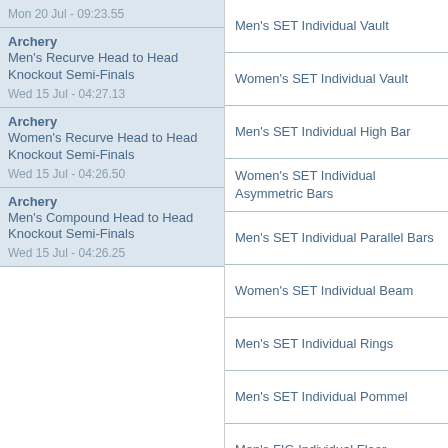Mon 20 Jul - 09:23.55
Archery
Men's Recurve Head to Head Knockout Semi-Finals
Wed 15 Jul - 04:27.13
Archery
Women's Recurve Head to Head Knockout Semi-Finals
Wed 15 Jul - 04:26.50
Archery
Men's Compound Head to Head Knockout Semi-Finals
Wed 15 Jul - 04:26.25
Men's SET Individual Vault
Women's SET Individual Vault
Men's SET Individual High Bar
Women's SET Individual Asymmetric Bars
Men's SET Individual Parallel Bars
Women's SET Individual Beam
Men's SET Individual Rings
Men's SET Individual Pommel
Men's FIG Individual Floor
Women's FIG Individual Floor
Men's FIG Individual Vault
Women's FIG Individual Vault